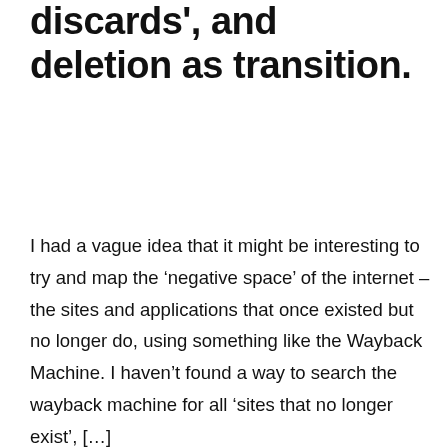discards', and deletion as transition.
I had a vague idea that it might be interesting to try and map the ‘negative space’ of the internet – the sites and applications that once existed but no longer do, using something like the Wayback Machine. I haven’t found a way to search the wayback machine for all ‘sites that no longer exist’, […]